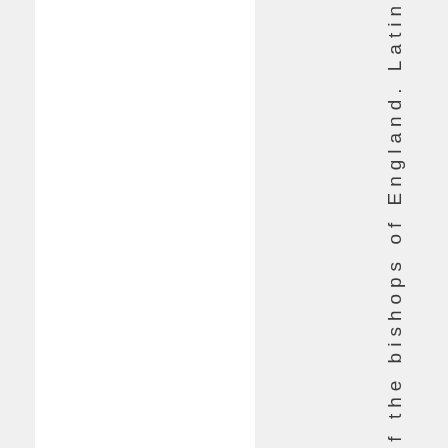e of the bishops of England. Latin